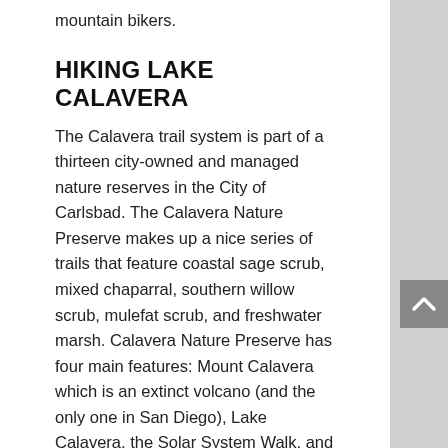mountain bikers.
HIKING LAKE CALAVERA
The Calavera trail system is part of a thirteen city-owned and managed nature reserves in the City of Carlsbad. The Calavera Nature Preserve makes up a nice series of trails that feature coastal sage scrub, mixed chaparral, southern willow scrub, mulefat scrub, and freshwater marsh. Calavera Nature Preserve has four main features: Mount Calavera which is an extinct volcano (and the only one in San Diego), Lake Calavera, the Solar System Walk, and an old abandoned mining cave, if you can find it.
The first of the preserve’s features is Mount Calavera. Mount Calavera is an extinct volcano and San Diego’s only one and one of three in Southern California. The main trail system skirts around Mount Calavera but